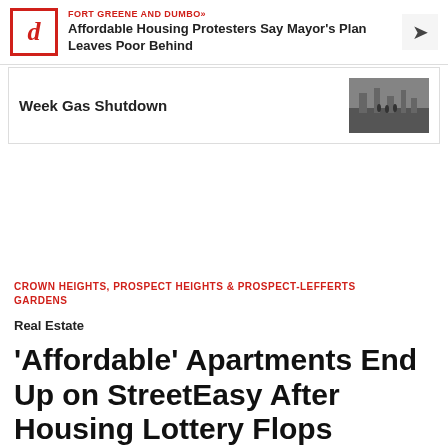FORT GREENE AND DUMBO» Affordable Housing Protesters Say Mayor's Plan Leaves Poor Behind
Week Gas Shutdown
CROWN HEIGHTS, PROSPECT HEIGHTS & PROSPECT-LEFFERTS GARDENS
Real Estate
'Affordable' Apartments End Up on StreetEasy After Housing Lottery Flops